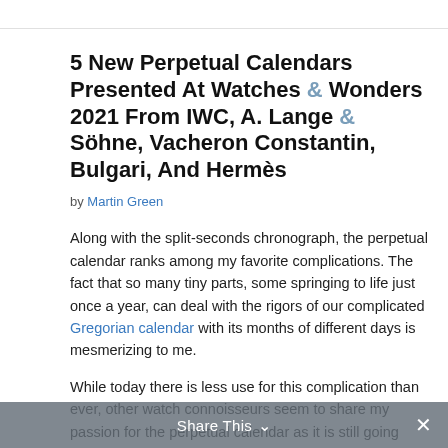5 New Perpetual Calendars Presented At Watches & Wonders 2021 From IWC, A. Lange & Söhne, Vacheron Constantin, Bulgari, And Hermès
by Martin Green
Along with the split-seconds chronograph, the perpetual calendar ranks among my favorite complications. The fact that so many tiny parts, some springing to life just once a year, can deal with the rigors of our complicated Gregorian calendar with its months of different days is mesmerizing to me.
While today there is less use for this complication than ever, other watch connoisseurs seem to share my passion for the perpetual calendar as it is still going strong. In fact, it is perhaps more popular than ever as many brands offer one (or more) in their collections – and especially in the last decade or two, the perpetual calendar is no longer exclusive to dress